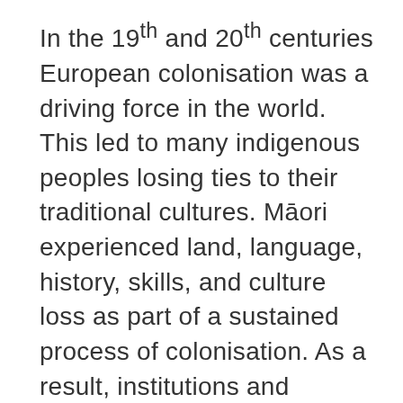In the 19th and 20th centuries European colonisation was a driving force in the world. This led to many indigenous peoples losing ties to their traditional cultures. Māori experienced land, language, history, skills, and culture loss as part of a sustained process of colonisation. As a result, institutions and societal rules and practices have combined to pressure people to engage in a largely Pākehā-defined New Zealand. For many Māori, the consequences of colonisation are still felt today - and its effects can be seen in people's health and wellbeing. (Barnes and McCreanor, 2019, Colonisation, hauora and whenua in Aotearoa discuss this). New Zealand has started to grapple with this as a society, but we still have a long way to go.